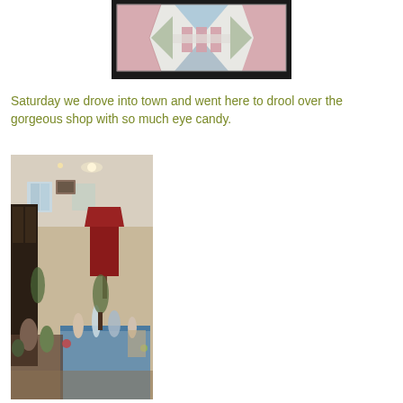[Figure (photo): A quilt pattern laid flat, showing a geometric design with pink, blue, and green triangles and shapes on a white background with dark border.]
Saturday we drove into town and went here to drool over the gorgeous shop with so much eye candy.
[Figure (photo): Interior of a crowded antique or gift shop filled with many decorative items, figurines, lamps including a red lampshade, blue draped items on a table, and collectibles throughout the room.]